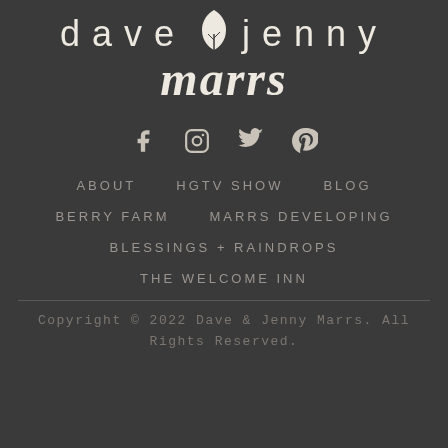[Figure (logo): Dave and Jenny Marrs logo with leaf icon and script text]
[Figure (infographic): Social media icons: Facebook, Instagram, Twitter, Pinterest]
ABOUT
HGTV SHOW
BLOG
BERRY FARM
MARRS DEVELOPING
BLESSINGS + RAINDROPS
THE WELCOME INN
Copyright © 2022 Dave & Jenny Marrs. All Rights Reserved.